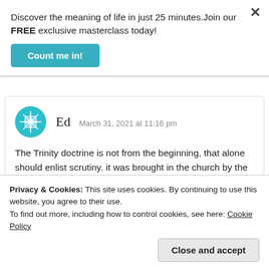Discover the meaning of life in just 25 minutes.Join our FREE exclusive masterclass today!
Count me in!
Ed  March 31, 2021 at 11:16 pm
The Trinity doctrine is not from the beginning, that alone should enlist scrutiny. it was brought in the church by the catholics, and that suggests more scrutiny.
Privacy & Cookies: This site uses cookies. By continuing to use this website, you agree to their use.
To find out more, including how to control cookies, see here: Cookie Policy
Close and accept